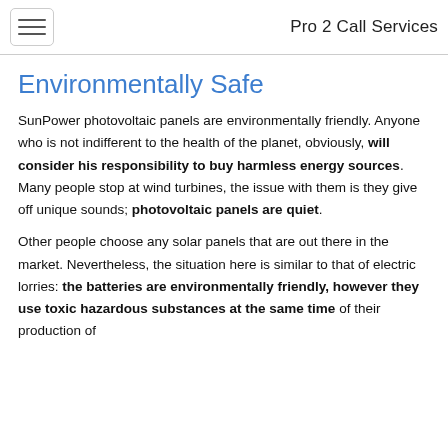Pro 2 Call Services
Environmentally Safe
SunPower photovoltaic panels are environmentally friendly. Anyone who is not indifferent to the health of the planet, obviously, will consider his responsibility to buy harmless energy sources. Many people stop at wind turbines, the issue with them is they give off unique sounds; photovoltaic panels are quiet.
Other people choose any solar panels that are out there in the market. Nevertheless, the situation here is similar to that of electric lorries: the batteries are environmentally friendly, however they use toxic hazardous substances at the same time of their production of